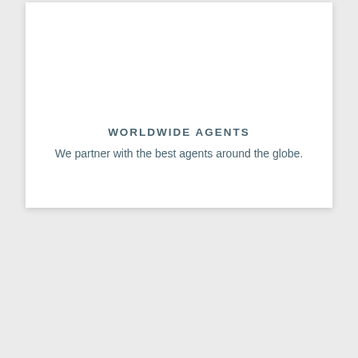WORLDWIDE AGENTS
We partner with the best agents around the globe.